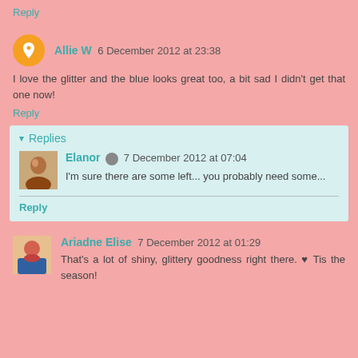Reply
Allie W 6 December 2012 at 23:38
I love the glitter and the blue looks great too, a bit sad I didn't get that one now!
Reply
Replies
Elanor 7 December 2012 at 07:04
I'm sure there are some left... you probably need some...
Reply
Ariadne Elise 7 December 2012 at 01:29
That's a lot of shiny, glittery goodness right there. ♥ Tis the season!